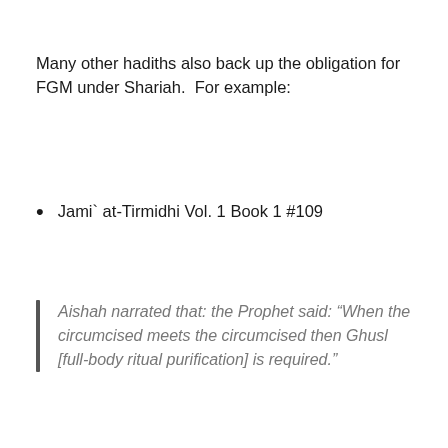Many other hadiths also back up the obligation for FGM under Shariah.  For example:
Jami` at-Tirmidhi Vol. 1 Book 1 #109
Aishah narrated that: the Prophet said: “When the circumcised meets the circumcised then Ghusl [full-body ritual purification] is required.”